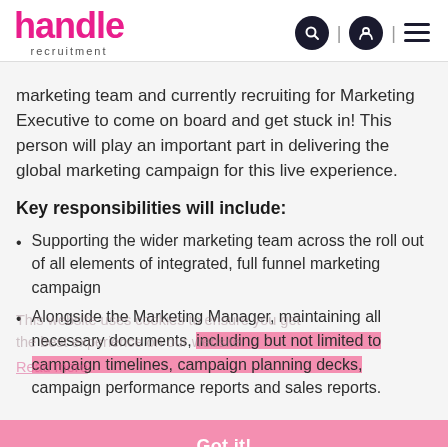handle recruitment
marketing team and currently recruiting for Marketing Executive to come on board and get stuck in! This person will play an important part in delivering the global marketing campaign for this live experience.
Key responsibilities will include:
Supporting the wider marketing team across the roll out of all elements of integrated, full funnel marketing campaign
Alongside the Marketing Manager, maintaining all necessary documents, including but not limited to campaign timelines, campaign planning decks, campaign performance reports and sales reports.